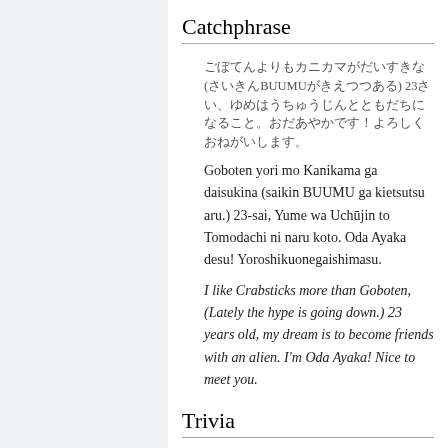Catchphrase
ごぼてんよりもカニカマがだいすきな(さいきんBUUMUがきえつつある) 23さい、ゆめはうちゅうじんとともだちになること。おだあやかです！よろしくおねがいします。
Goboten yori mo Kanikama ga daisukina (saikin BUUMU ga kietsutsu aru.) 23-sai, Yume wa Uchūjin to Tomodachi ni naru koto. Oda Ayaka desu! Yoroshikuonegaishimasu.
I like Crabsticks more than Goboten, (Lately the hype is going down.) 23 years old, my dream is to become friends with an alien. I'm Oda Ayaka! Nice to meet you.
Trivia
Hobbies: Making original recipes,